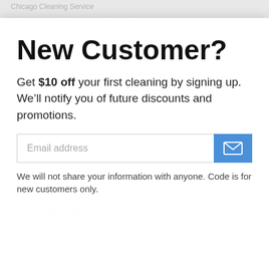Chicago Cleaning Service
Hoboken Cleaning Service
Jersey City Cleaning Service
NYC Cleaning Blog
How to Clean a Toilet Without Using Harsh Chemicals
How to Clean your Kitchen Sink in Just a Few Steps
How to Clean Pot Brushes
How Do You Get Wine Out of a Carpet?
How to Make DIY Foaming Soap
How to Clean Light Switches and Electrical Outlet Covers
Your Guide to Keeping a Clean house (And Avoiding the Flu)
A Landlord’s Worst Nightmare: 5 Outrageous Tenant Horror Stories
New Customer?
Get $10 off your first cleaning by signing up. We’ll notify you of future discounts and promotions.
Email address
We will not share your information with anyone. Code is for new customers only.